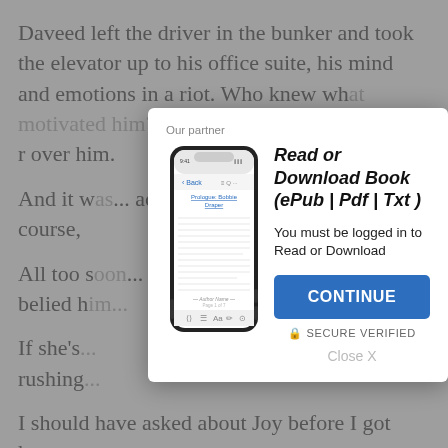Daveed left the driver in the bunker and took the elevator up to his office suite, his mind and emotions in a riot. Who knew wh... resigned... r over him.
And it w... acute illness. ...ssured her was... Of course,
All too s... floor, and Dav... ide that belied h...
If she's... He stee... ste rushing...
I should have asked about Joy before I got here.
Stupid! It would have told Celeste too much.
[Figure (screenshot): Modal overlay showing a smartphone displaying a book page, with title 'Read or Download Book (lePub | Pdf | Txt)', a note 'You must be logged in to Read or Download', a blue CONTINUE button, SECURE VERIFIED text, and Close X link. Header says 'Our partner'.]